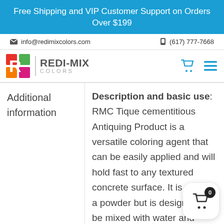Free Shipping and VIP Customer Support on Orders Over $199
info@redimixcolors.com   (617) 777-7668
[Figure (logo): Redi-Mix Colors logo with colorful mosaic R icon]
Additional information
Description and basic use: RMC Tique cementitious Antiquing Product is a versatile coloring agent that can be easily applied and will hold fast to any textured concrete surface. It is sold as a powder but is designed to be mixed with water and applied as a liquid wash coat. RMC Tique can